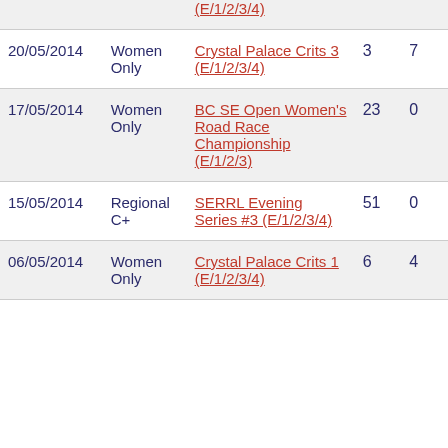| Date | Category | Event |  |  |
| --- | --- | --- | --- | --- |
|  |  | (E/1/2/3/4) |  |  |
| 20/05/2014 | Women Only | Crystal Palace Crits 3 (E/1/2/3/4) | 3 | 7 |
| 17/05/2014 | Women Only | BC SE Open Women's Road Race Championship (E/1/2/3) | 23 | 0 |
| 15/05/2014 | Regional C+ | SERRL Evening Series #3 (E/1/2/3/4) | 51 | 0 |
| 06/05/2014 | Women Only | Crystal Palace Crits 1 (E/1/2/3/4) | 6 | 4 |